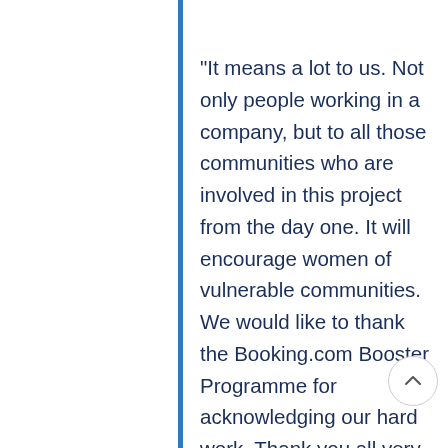“It means a lot to us. Not only people working in a company, but to all those communities who are involved in this project from the day one. It will encourage women of vulnerable communities. We would like to thank the Booking.com Booster Programme for acknowledging our hard work. Thank you all very much.”-Sudeep Singh, Manager